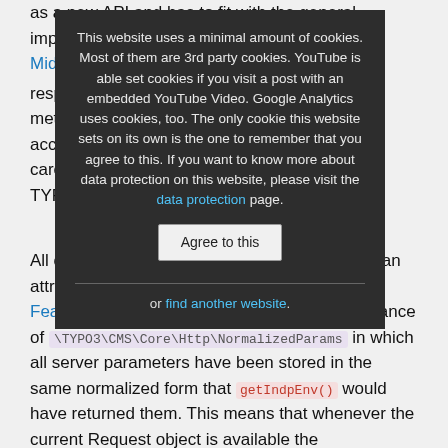as a new API and has to fit with the general implementation of PSR-7/PSR-15 based Middleware. TYPO3 comes with a response method c... accessing ... care of n... TYPO3 c...
Cookie banner overlay: This website uses a minimal amount of cookies. Most of them are 3rd party cookies. YouTube is able set cookies if you visit a post with an embedded YouTube Video. Google Analytics uses cookies, too. The only cookie this website sets on its own is the one to remember that you agree to this. If you want to know more about data protection on this website, please visit the data protection page. [Agree to this] or find another website.
All of this is now part of the Request object via an attribute called 'normalizedParams' (Patch, Feature RST). The attribute contains an instance of \TYPO3\CMS\Core\Http\NormalizedParams in which all server parameters have been stored in the same normalized form that getIndpEnv() would have returned them. This means that whenever the current Request object is available the NormalizedParams can be used as a 1-to-1 replacement for getIndpEnv().